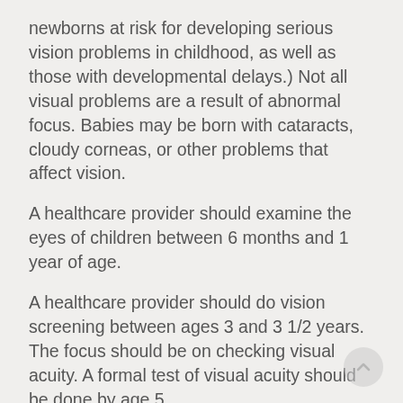newborns at risk for developing serious vision problems in childhood, as well as those with developmental delays.) Not all visual problems are a result of abnormal focus. Babies may be born with cataracts, cloudy corneas, or other problems that affect vision.
A healthcare provider should examine the eyes of children between 6 months and 1 year of age.
A healthcare provider should do vision screening between ages 3 and 3 1/2 years. The focus should be on checking visual acuity. A formal test of visual acuity should be done by age 5.
For children ages 6 to 17, vision screening should occur before first grade and every year after that.
The need for and frequency of follow-up visits will be determined by whether or not your child is at risk for the